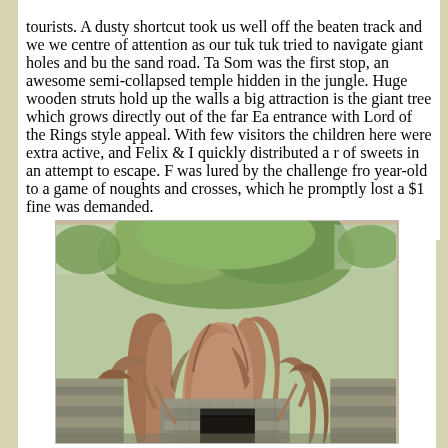tourists. A dusty shortcut took us well off the beaten track and we were centre of attention as our tuk tuk tried to navigate giant holes and bur the sand road. Ta Som was the first stop, an awesome semi-collapsed temple hidden in the jungle. Huge wooden struts hold up the walls ar big attraction is the giant tree which grows directly out of the far Eas entrance with Lord of the Rings style appeal. With few visitors the children here were extra active, and Felix & I quickly distributed a ro of sweets in an attempt to escape. F was lured by the challenge from year-old to a game of noughts and crosses, which he promptly lost ar $1 fine was demanded.
[Figure (photo): Photograph of a large ancient tree with massive intertwining roots growing over and around a stone temple doorway or gateway at Ta Som, Cambodia. The tree dominates the entrance with sprawling roots enveloping the stone structure. Green foliage is visible above.]